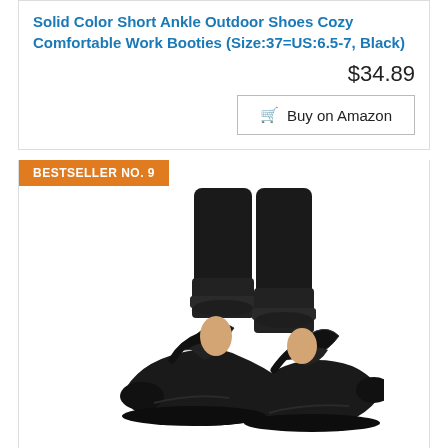Solid Color Short Ankle Outdoor Shoes Cozy Comfortable Work Booties (Size:37=US:6.5-7, Black)
$34.89
Buy on Amazon
BESTSELLER NO. 9
[Figure (photo): Black ballet flats with elastic ankle straps worn on feet with black jeans, showing two shoes from the front/side angle]
Aniywn Womens Ballet Flats Elastic Ankle Strap Shoes Slip On Loafers Round Toe